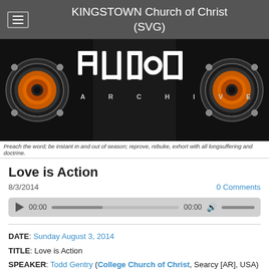KINGSTOWN Church of Christ (SVG)
[Figure (illustration): Audio Archive banner with speaker icons and large digital LED-style text spelling AUDIO ARCHIVE on black background]
Preach the word; be instant in and out of season; reprove, rebuke, exhort with all longsuffering and doctrine.
Love is Action
8/3/2014
0 Comments
[Figure (screenshot): Audio player control bar with play button, time displays showing 00:00, progress bar, volume icon and volume slider]
DATE: Sunday August 3, 2014
TITLE: Love is Action
SPEAKER: Todd Gentry (College Church of Christ, Searcy [AR], USA)
OCCASION: Worship Service @ Kingstown Church of Christ